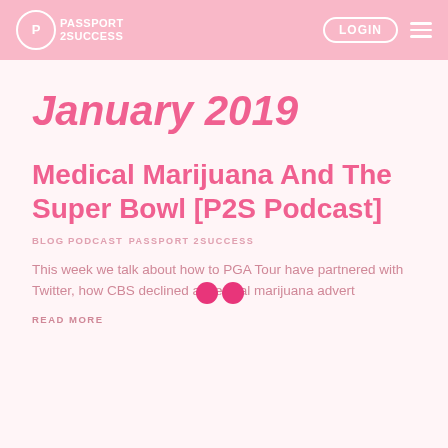Passport 2 Success | LOGIN
January 2019
Medical Marijuana And The Super Bowl [P2S Podcast]
BLOG PODCAST  PASSPORT 2SUCCESS
This week we talk about how to PGA Tour have partnered with Twitter, how CBS declined a medical marijuana advert
READ MORE